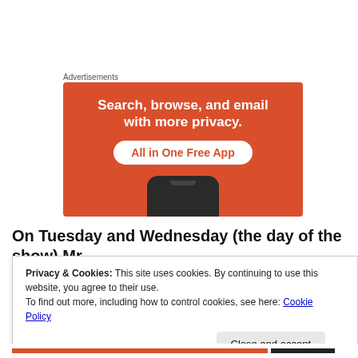Advertisements
[Figure (illustration): Orange advertisement banner with white bold text 'Search, browse, and email with more privacy.' and a white pill button 'All in One Free App', with a smartphone image at the bottom.]
On Tuesday and Wednesday (the day of the show) Mr.
Privacy & Cookies: This site uses cookies. By continuing to use this website, you agree to their use.
To find out more, including how to control cookies, see here: Cookie Policy
Close and accept